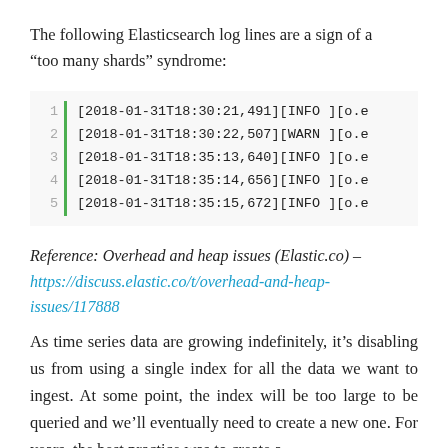The following Elasticsearch log lines are a sign of a “too many shards” syndrome:
[Figure (screenshot): Code block showing 5 lines of Elasticsearch log output with line numbers 1-5, a green vertical bar, and log entries starting with timestamps [2018-01-31T18:30:21,491][INFO ][o.e... etc.]
Reference: Overhead and heap issues (Elastic.co) – https://discuss.elastic.co/t/overhead-and-heap-issues/117888
As time series data are growing indefinitely, it’s disabling us from using a single index for all the data we want to ingest. At some point, the index will be too large to be queried and we’ll eventually need to create a new one. For years, the best practice was to create a